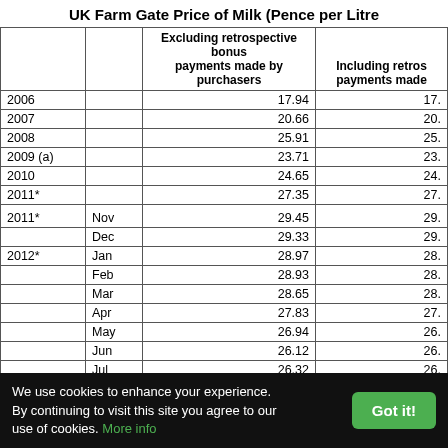UK Farm Gate Price of Milk (Pence per Litre)
|  |  | Excluding retrospective bonus payments made by purchasers | Including retrospective payments made... |
| --- | --- | --- | --- |
| 2006 |  | 17.94 | 17. |
| 2007 |  | 20.66 | 20. |
| 2008 |  | 25.91 | 25. |
| 2009 (a) |  | 23.71 | 23. |
| 2010 |  | 24.65 | 24. |
| 2011* |  | 27.35 | 27. |
| 2011* | Nov | 29.45 | 29. |
|  | Dec | 29.33 | 29. |
| 2012* | Jan | 28.97 | 28. |
|  | Feb | 28.93 | 28. |
|  | Mar | 28.65 | 28. |
|  | Apr | 27.83 | 27. |
|  | May | 26.94 | 26. |
|  | Jun | 26.12 | 26. |
|  | Jul | 26.32 | 26. |
|  | Aug | 26.58 | 26. |
We use cookies to enhance your experience. By continuing to visit this site you agree to our use of cookies. More info